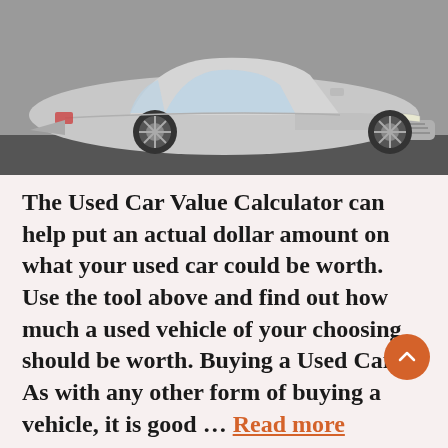[Figure (photo): Silver/white Honda car (sedan) photographed from the front-right angle, parked on a road surface. The vehicle's front grille, headlights, hood, windshield and alloy wheels are visible.]
The Used Car Value Calculator can help put an actual dollar amount on what your used car could be worth. Use the tool above and find out how much a used vehicle of your choosing should be worth. Buying a Used Car   As with any other form of buying a vehicle, it is good … Read more